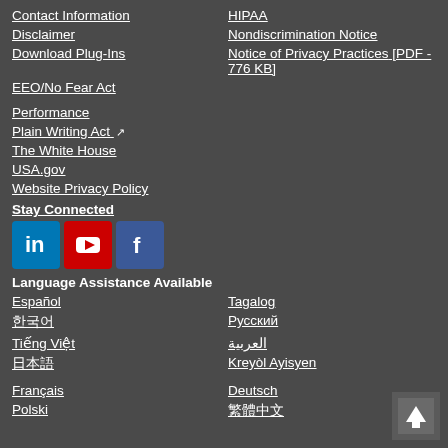Contact Information
HIPAA
Disclaimer
Nondiscrimination Notice
Download Plug-Ins
Notice of Privacy Practices [PDF - 776 KB]
EEO/No Fear Act
Performance
Plain Writing Act
The White House
USA.gov
Website Privacy Policy
Stay Connected
[Figure (logo): LinkedIn, YouTube, and Facebook social media icons]
Language Assistance Available
Español
Tagalog
한국어
Русский
Tiếng Việt
العربية
日本語
Kreyòl Ayisyen
Français
Deutsch
Polski
繁體中文